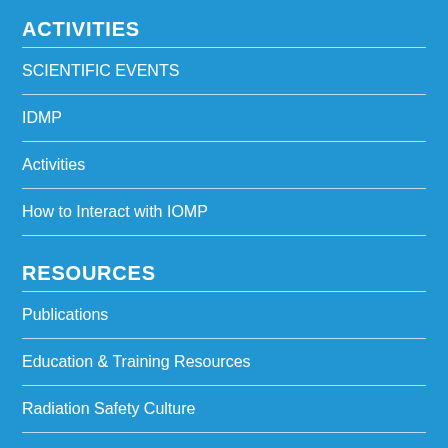ACTIVITIES
SCIENTIFIC EVENTS
IDMP
Activities
How to Interact with IOMP
RESOURCES
Publications
Education & Training Resources
Radiation Safety Culture
Links